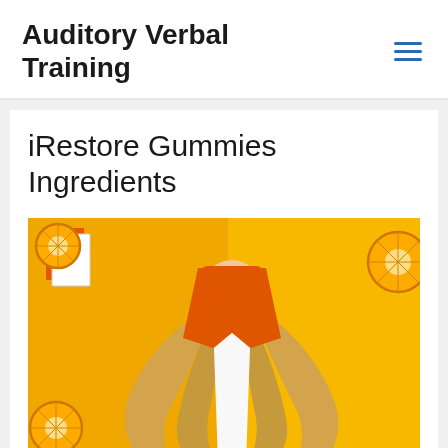Auditory Verbal Training
iRestore Gummies Ingredients
[Figure (photo): Woman with blonde hair lying upside-down on a bright yellow background surrounded by orange slices and a notebook/book on the left side]